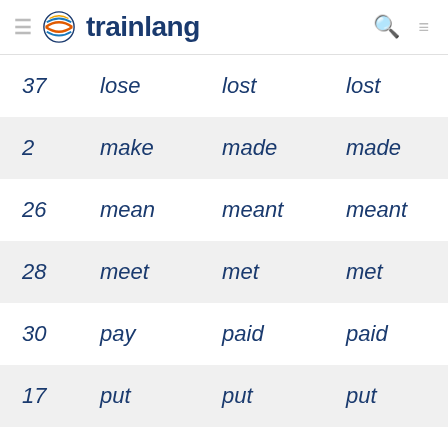trainlang
| # | Base | Past Simple | Past Participle |
| --- | --- | --- | --- |
| 37 | lose | lost | lost |
| 2 | make | made | made |
| 26 | mean | meant | meant |
| 28 | meet | met | met |
| 30 | pay | paid | paid |
| 17 | put | put | put |
| 35 | read | read | read |